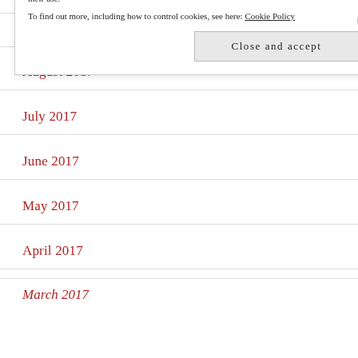October 2017
September 2017
August 2017
July 2017
June 2017
May 2017
April 2017
March 2017
Privacy & Cookies: This site uses cookies. By continuing to use this website, you agree to their use. To find out more, including how to control cookies, see here: Cookie Policy
Close and accept